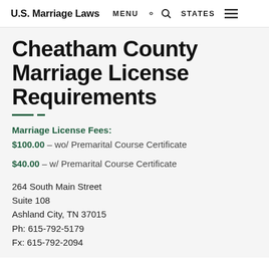U.S. Marriage Laws  MENU  🔍  STATES  ☰
Cheatham County Marriage License Requirements
Marriage License Fees: $100.00 – wo/ Premarital Course Certificate
$40.00 – w/ Premarital Course Certificate
264 South Main Street
Suite 108
Ashland City, TN 37015
Ph: 615-792-5179
Fx: 615-792-2094